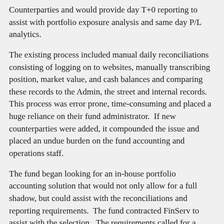Counterparties and would provide day T+0 reporting to assist with portfolio exposure analysis and same day P/L analytics.
The existing process included manual daily reconciliations consisting of logging on to websites, manually transcribing position, market value, and cash balances and comparing these records to the Admin, the street and internal records.  This process was error prone, time-consuming and placed a huge reliance on their fund administrator.  If new counterparties were added, it compounded the issue and placed an undue burden on the fund accounting and operations staff.
The fund began looking for an in-house portfolio accounting solution that would not only allow for a full shadow, but could assist with the reconciliations and reporting requirements.  The fund contracted FinServ to assist with the selection.  The requirements called for a